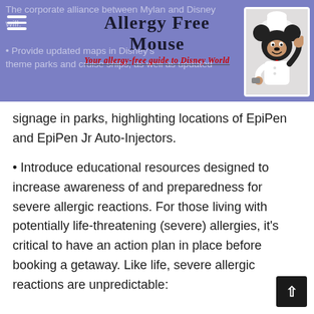Allergy Free Mouse — Your allergy-free guide to Disney World
Provide updated maps in Disney's theme parks and cruise ships, as well as updated signage in parks, highlighting locations of EpiPen and EpiPen Jr Auto-Injectors.
Introduce educational resources designed to increase awareness of and preparedness for severe allergic reactions. For those living with potentially life-threatening (severe) allergies, it's critical to have an action plan in place before booking a getaway. Like life, severe allergic reactions are unpredictable: